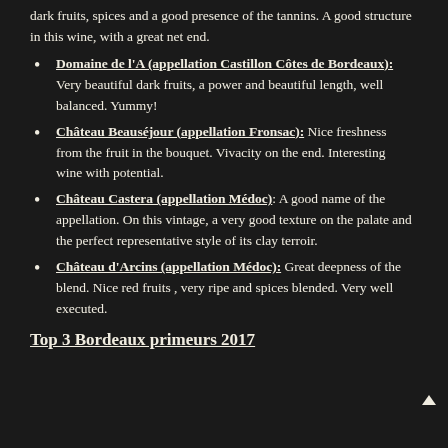dark fruits, spices and a good presence of the tannins. A good structure in this wine, with a great net end.
Domaine de l'A (appellation Castillon Côtes de Bordeaux): Very beautiful dark fruits, a power and beautiful length, well balanced. Yummy!
Château Beauséjour (appellation Fronsac): Nice freshness from the fruit in the bouquet. Vivacity on the end. Interesting wine with potential.
Château Castera (appellation Médoc): A good name of the appellation. On this vintage, a very good texture on the palate and the perfect representative style of its clay terroir.
Château d'Arcins (appellation Médoc): Great deepness of the blend. Nice red fruits , very ripe and spices blended. Very well executed.
Top 3 Bordeaux primeurs 2017